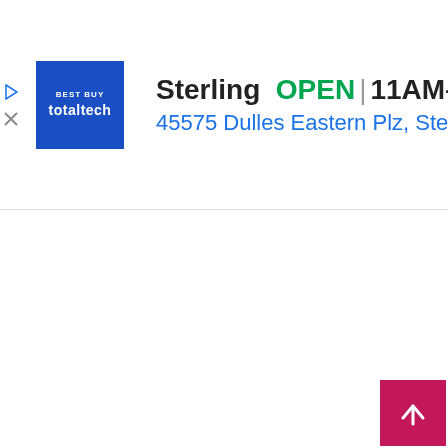[Figure (screenshot): A store location card UI element showing 'Sterling OPEN 11AM-8PM' with a Best Buy Total Tech logo, address '45575 Dulles Eastern Plz, Ste 18.', a navigation direction diamond icon, play/close icons on the left, a collapse chevron tab, and a pink scroll-to-top button in the bottom right.]